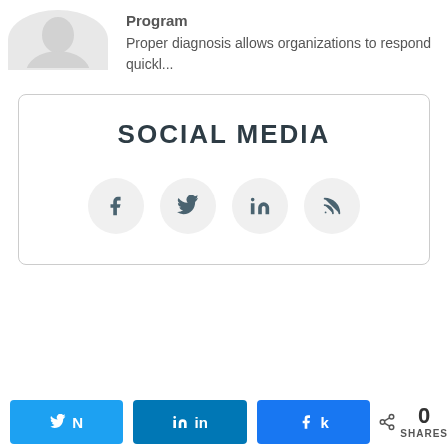[Figure (illustration): Partial avatar/person silhouette image at top left, partially cropped]
Program
Proper diagnosis allows organizations to respond quickl...
SOCIAL MEDIA
[Figure (infographic): Four circular social media icon buttons: Facebook (f), Twitter (bird), LinkedIn (in), RSS feed]
[Figure (infographic): Share bar with Twitter, LinkedIn, Facebook buttons and share count of 0 SHARES]